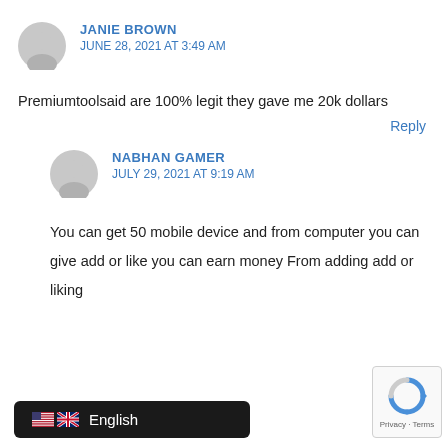JANIE BROWN
JUNE 28, 2021 AT 3:49 AM
Premiumtoolsaid are 100% legit they gave me 20k dollars
Reply
NABHAN GAMER
JULY 29, 2021 AT 9:19 AM
You can get 50 mobile device and from computer you can give add or like you can earn money From adding add or liking
English
Privacy · Terms